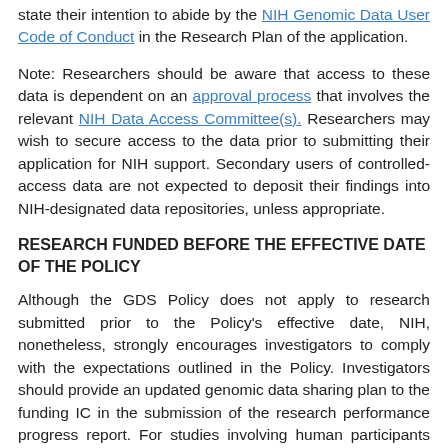state their intention to abide by the NIH Genomic Data User Code of Conduct in the Research Plan of the application.
Note: Researchers should be aware that access to these data is dependent on an approval process that involves the relevant NIH Data Access Committee(s). Researchers may wish to secure access to the data prior to submitting their application for NIH support. Secondary users of controlled-access data are not expected to deposit their findings into NIH-designated data repositories, unless appropriate.
RESEARCH FUNDED BEFORE THE EFFECTIVE DATE OF THE POLICY
Although the GDS Policy does not apply to research submitted prior to the Policy's effective date, NIH, nonetheless, strongly encourages investigators to comply with the expectations outlined in the Policy. Investigators should provide an updated genomic data sharing plan to the funding IC in the submission of the research performance progress report. For studies involving human participants that were initiated before the Policy's effective date and used consent that does not meet the expectations of the GDS...